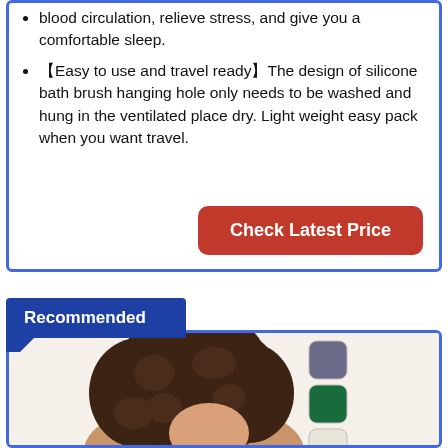blood circulation, relieve stress, and give you a comfortable sleep.
【Easy to use and travel ready】The design of silicone bath brush hanging hole only needs to be washed and hung in the ventilated place dry. Light weight easy pack when you want travel.
Check Latest Price
Recommended
[Figure (photo): Woman with natural curly hair shown from behind/side, with three color swatches (gray, green, cream) displayed beside her]